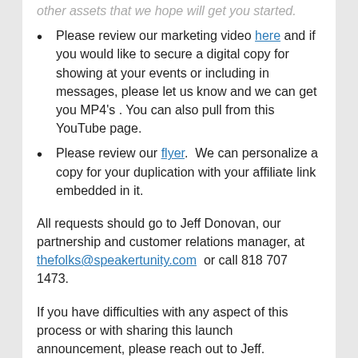Please review our marketing video here and if you would like to secure a digital copy for showing at your events or including in messages, please let us know and we can get you MP4's . You can also pull from this YouTube page.
Please review our flyer.  We can personalize a copy for your duplication with your affiliate link embedded in it.
All requests should go to Jeff Donovan, our partnership and customer relations manager, at thefolks@speakertunity.com  or call 818 707 1473.
If you have difficulties with any aspect of this process or with sharing this launch announcement, please reach out to Jeff.
Thank you for your gracious support!
Please note that anyone who goes to the landing page—and doesn't live in regions where we have directories--may request their preferred city in a form at the bottom of